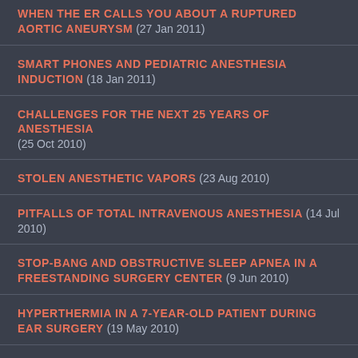WHEN THE ER CALLS YOU ABOUT A RUPTURED AORTIC ANEURYSM (27 Jan 2011)
SMART PHONES AND PEDIATRIC ANESTHESIA INDUCTION (18 Jan 2011)
CHALLENGES FOR THE NEXT 25 YEARS OF ANESTHESIA (25 Oct 2010)
STOLEN ANESTHETIC VAPORS (23 Aug 2010)
PITFALLS OF TOTAL INTRAVENOUS ANESTHESIA (14 Jul 2010)
STOP-BANG AND OBSTRUCTIVE SLEEP APNEA IN A FREESTANDING SURGERY CENTER (9 Jun 2010)
HYPERTHERMIA IN A 7-YEAR-OLD PATIENT DURING EAR SURGERY (19 May 2010)
CAN YOU LEAVE YOUR ANESTHETIZED PATIENT IN AN EMERGENCY? (3 May 2010)